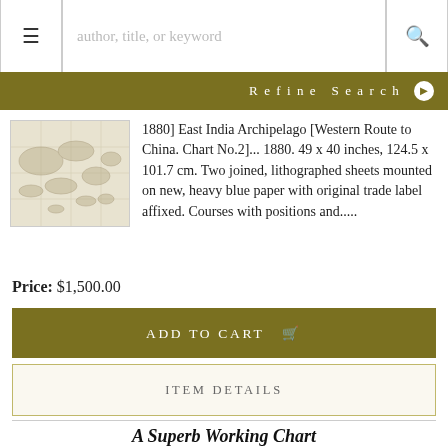☰  author, title, or keyword  🔍
Refine Search ▶
[Figure (map): Thumbnail image of an antique chart showing the East India Archipelago / Western Route to China]
1880]  East India Archipelago [Western Route to China. Chart No.2]... 1880.  49 x 40 inches, 124.5 x 101.7 cm.  Two joined, lithographed sheets mounted on new, heavy blue paper with original trade label affixed.  Courses with positions and.....
Price: $1,500.00
ADD TO CART 🛒
ITEM DETAILS
A Superb Working Chart